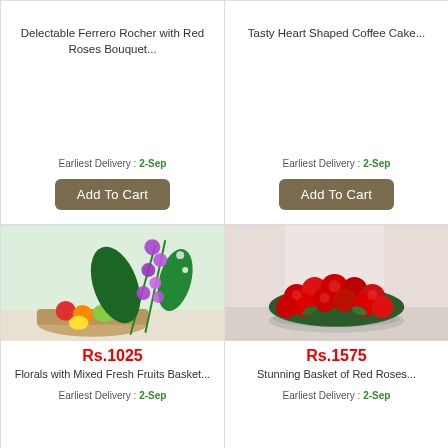Delectable Ferrero Rocher with Red Roses Bouquet...
Earliest Delivery : 2-Sep
Add To Cart
Tasty Heart Shaped Coffee Cake...
Earliest Delivery : 2-Sep
Add To Cart
[Figure (photo): Floral arrangement with purple orchids and mixed fresh fruits in a wicker basket]
Rs.1025
Florals with Mixed Fresh Fruits Basket...
Earliest Delivery : 2-Sep
[Figure (photo): Stunning basket arrangement of red roses]
Rs.1575
Stunning Basket of Red Roses...
Earliest Delivery : 2-Sep